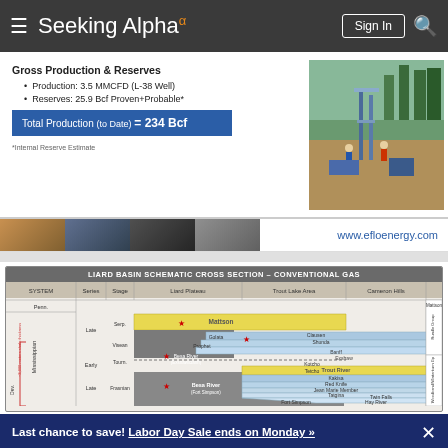Seeking Alpha
Gross Production & Reserves
Production: 3.5 MMCFD (L-38 Well)
Reserves: 25.9 Bcf Proven+Probable*
Total Production (to Date) = 234 Bcf
*Internal Reserve Estimate
[Figure (photo): Oil/gas drilling rig with workers in a forested area]
www.efloenergy.com
[Figure (schematic): Liard Basin Schematic Cross Section – Conventional Gas, showing geological systems, series, stages, and formations including Liard Plateau, Trout Lake Area, and Cameron Hills regions]
Last chance to save! Labor Day Sale ends on Monday »